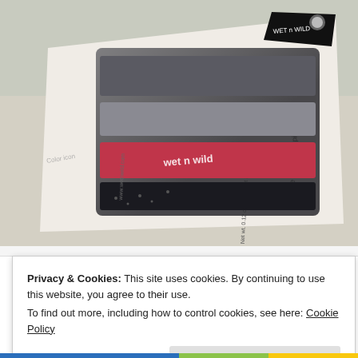[Figure (photo): A Wet n Wild eyeshadow trio palette in a clear plastic case with a pink/red center shade flanked by dark grey/black shades, sitting on its packaging which reads 'trio de fards à paupières' and 'Net wt. 0.12 oz / Poids net 3.5g', with the Wet n Wild brand logo visible at top.]
Privacy & Cookies: This site uses cookies. By continuing to use this website, you agree to their use.
To find out more, including how to control cookies, see here: Cookie Policy
Close and accept